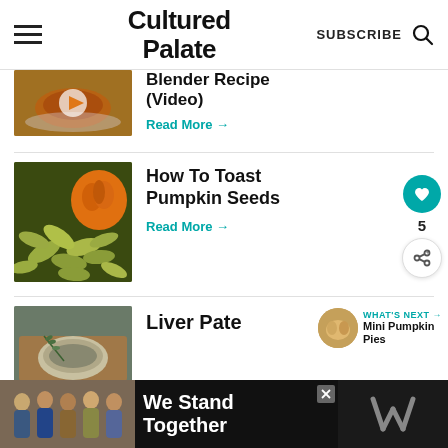Cultured Palate  SUBSCRIBE
[Figure (photo): Partially visible article thumbnail: pumpkin pie slice on a blue patterned plate with a video play button overlay]
Blender Recipe (Video)
Read More →
[Figure (photo): Toasted pumpkin seeds spread out with a small orange pumpkin in the background]
How To Toast Pumpkin Seeds
Read More →
[Figure (photo): Liver pate in a dish with rosemary garnish on a wooden board]
Liver Pate
WHAT'S NEXT → Mini Pumpkin Pies
[Figure (photo): Advertisement banner: group of people with text 'We Stand Together']